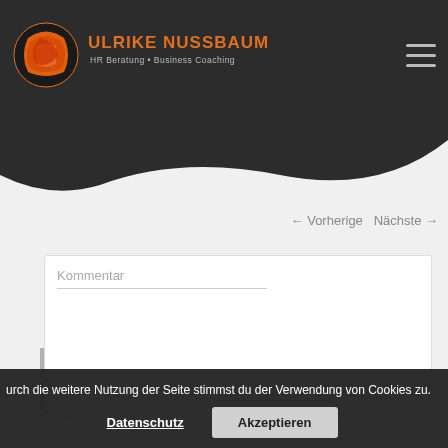[Figure (logo): Ulrike Nussbaum HR Beratung + Business Coaching logo with orange circle icon and dark header background with wave shape]
← Vorherige   Nächste →
Kommentar
Name
urch die weitere Nutzung der Seite stimmst du der Verwendung von Cookies zu.
Datenschutz
Akzeptieren